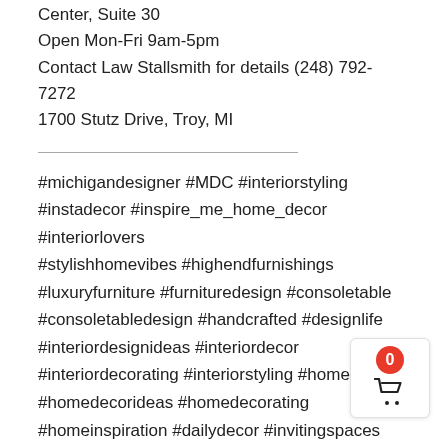Center, Suite 30
Open Mon-Fri 9am-5pm
Contact Law Stallsmith for details (248) 792-7272
1700 Stutz Drive, Troy, MI
#michigandesigner #MDC #interiorstyling #instadecor #inspire_me_home_decor #interiorlovers #stylishhomevibes #highendfurnishings #luxuryfurniture #furnituredesign #consoletable #consoletabledesign #handcrafted #designlife #interiordesignideas #interiordecor #interiordecorating #interiorstyling #homedecor #homedecorideas #homedecorating #homeinspiration #dailydecor #invitingspaces #entrywayideas #entrywaydesign #theodorealexander
Read for Lifestyle Post #Placeholder Providers Client...